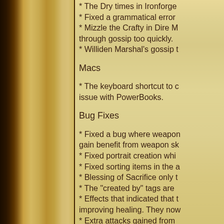* The Dry times in Ironforge
* Fixed a grammatical error
* Mizzle the Crafty in Dire M... through gossip too quickly.
* Williden Marshal's gossip t...
Macs
* The keyboard shortcut to c... issue with PowerBooks.
Bug Fixes
* Fixed a bug where weapon... gain benefit from weapon sk...
* Fixed portrait creation whi...
* Fixed sorting items in the a...
* Blessing of Sacrifice only t...
* The "created by" tags are ...
* Effects that indicated that t... improving healing. They now...
* Extra attacks gained from ... swing time...